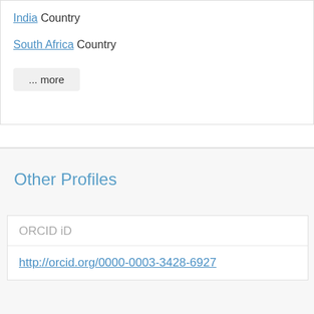India Country
South Africa Country
... more
Other Profiles
ORCID iD
http://orcid.org/0000-0003-3428-6927
Google Scholar
https://scholar.google.com/citations?user=6Mz